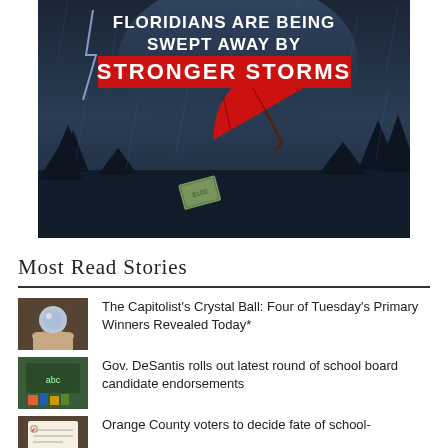[Figure (illustration): Storm scene with a red umbrella being blown by wind, money flying, with white bold text 'FLORIDIANS ARE BEING SWEPT AWAY BY STRONGER STORMS' on a dark stormy background. 'STRONGER STORMS' has a red background highlight.]
Most Read Stories
[Figure (photo): Thumbnail image of hands holding a crystal ball]
The Capitolist's Crystal Ball: Four of Tuesday's Primary Winners Revealed Today*
[Figure (photo): Thumbnail image of a chalkboard with books]
Gov. DeSantis rolls out latest round of school board candidate endorsements
[Figure (photo): Thumbnail image related to Orange County voters story]
Orange County voters to decide fate of school-